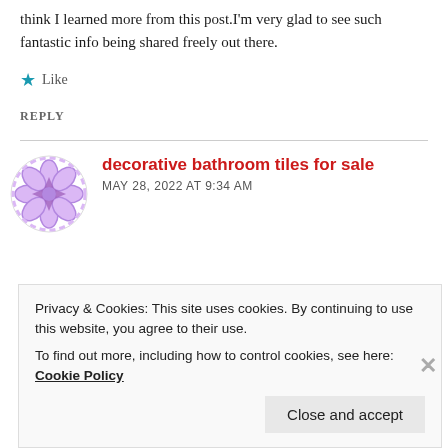think I learned more from this post.I'm very glad to see such fantastic info being shared freely out there.
★ Like
REPLY
[Figure (illustration): Purple geometric avatar icon with diamond/star pattern]
decorative bathroom tiles for sale
MAY 28, 2022 AT 9:34 AM
Privacy & Cookies: This site uses cookies. By continuing to use this website, you agree to their use.
To find out more, including how to control cookies, see here: Cookie Policy
Close and accept